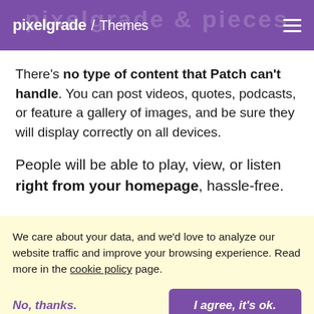pixelgrade / Themes
There's no type of content that Patch can't handle. You can post videos, quotes, podcasts, or feature a gallery of images, and be sure they will display correctly on all devices.
People will be able to play, view, or listen right from your homepage, hassle-free.
We care about your data, and we'd love to analyze our website traffic and improve your browsing experience. Read more in the cookie policy page.
No, thanks.
I agree, it's ok.